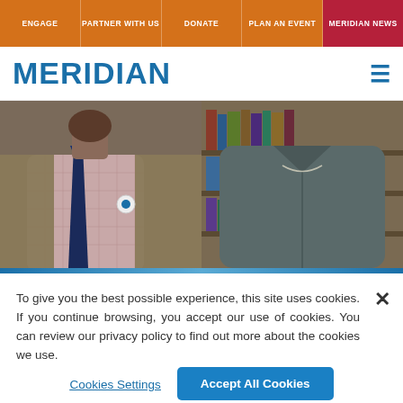ENGAGE | PARTNER WITH US | DONATE | PLAN AN EVENT | MERIDIAN NEWS
MERIDIAN
[Figure (photo): Two people shown from shoulders/chest down. Left: person wearing a checked shirt, dark navy tie, and tan/brown blazer with a circular white pin badge. Right: person wearing a dark grey zip-up jacket, with a bookshelf visible in the background.]
To give you the best possible experience, this site uses cookies. If you continue browsing, you accept our use of cookies. You can review our privacy policy to find out more about the cookies we use.
Cookies Settings
Accept All Cookies